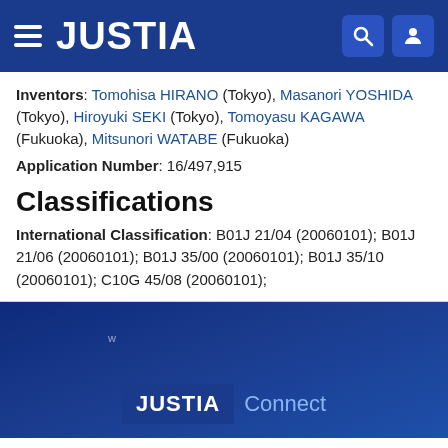JUSTIA
Inventors: Tomohisa HIRANO (Tokyo), Masanori YOSHIDA (Tokyo), Hiroyuki SEKI (Tokyo), Tomoyasu KAGAWA (Fukuoka), Mitsunori WATABE (Fukuoka)
Application Number: 16/497,915
Classifications
International Classification: B01J 21/04 (20060101); B01J 21/06 (20060101); B01J 35/00 (20060101); B01J 35/10 (20060101); C10G 45/08 (20060101);
[Figure (screenshot): Blue gradient footer area with small text and Justia Connect branding at bottom]